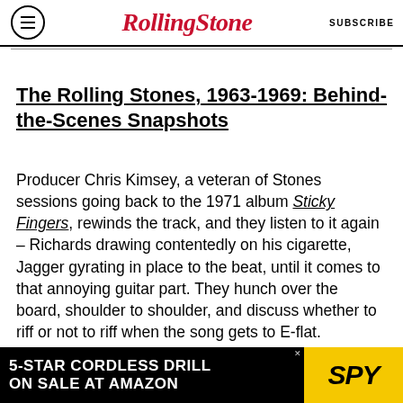RollingStone SUBSCRIBE
The Rolling Stones, 1963-1969: Behind-the-Scenes Snapshots
Producer Chris Kimsey, a veteran of Stones sessions going back to the 1971 album Sticky Fingers, rewinds the track, and they listen to it again – Richards drawing contentedly on his cigarette, Jagger gyrating in place to the beat, until it comes to that annoying guitar part. They hunch over the board, shoulder to shoulder, and discuss whether to riff or not to riff when the song gets to E-flat.
[Figure (other): Advertisement banner: '5-STAR CORDLESS DRILL ON SALE AT AMAZON' with SPY logo on yellow background]